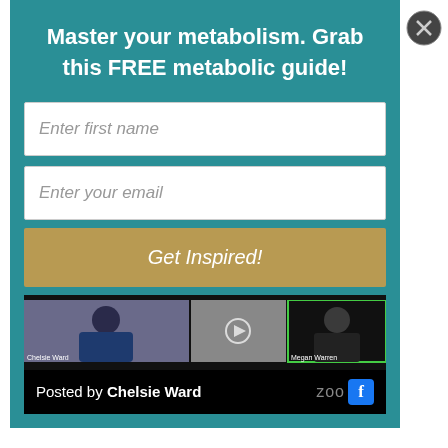Master your metabolism. Grab this FREE metabolic guide!
Enter first name
Enter your email
Get Inspired!
[Figure (screenshot): Video call screenshot showing participants including Chelsie Ward and Megan Warren on a Zoom/Facebook call]
Posted by Chelsie Ward